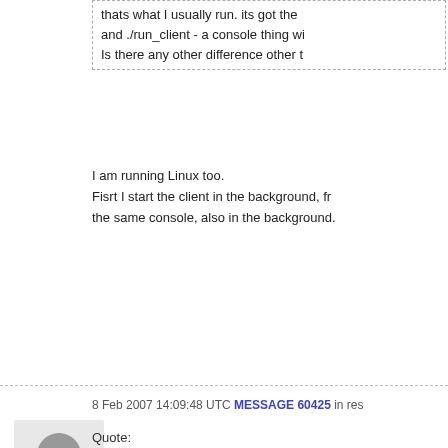thats what I usually run. its got the and ./run_client - a console thing wi Is there any other difference other t
I am running Linux too.
Fisrt I start the client in the background, fr the same console, also in the background.
8 Feb 2007 14:09:48 UTC MESSAGE 60425 in res
[Figure (photo): Gray default avatar silhouette of a user profile]
HITSOV
Joined: 2 Dec 06
Posts: 14
Credit: 38,212
RAC: 0
Quote:
Quote:
Quote:
Hey there,
I want to ask you wha http://einsteinathome I'm getting a lot of the